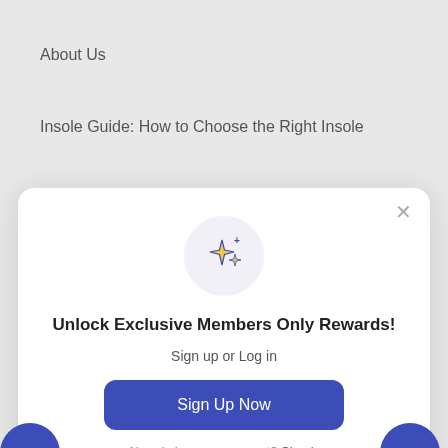About Us
Insole Guide: How to Choose the Right Insole
FAQs
Unlock Exclusive Members Only Rewards!
Sign up or Log in
Sign Up Now
Already have an account? Sign in